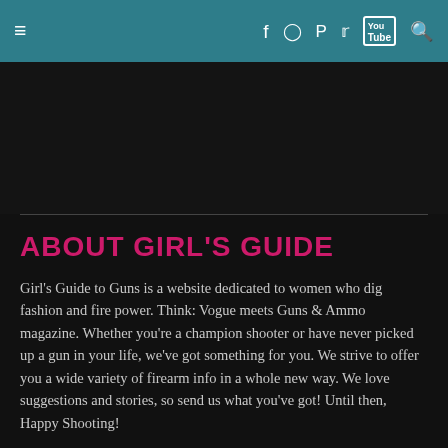≡  f  ○  P  🐦  You Tube  🔍
ABOUT GIRL'S GUIDE
Girl's Guide to Guns is a website dedicated to women who dig fashion and fire power. Think: Vogue meets Guns & Ammo magazine. Whether you're a champion shooter or have never picked up a gun in your life, we've got something for you. We strive to offer you a wide variety of firearm info in a whole new way. We love suggestions and stories, so send us what you've got! Until then, Happy Shooting!